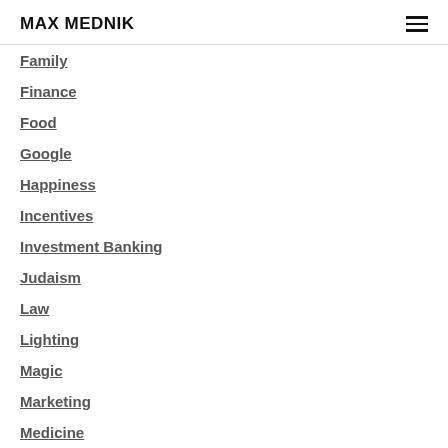MAX MEDNIK
Family
Finance
Food
Google
Happiness
Incentives
Investment Banking
Judaism
Law
Lighting
Magic
Marketing
Medicine
Networking
Nolabound
Philosophy
Professionalism